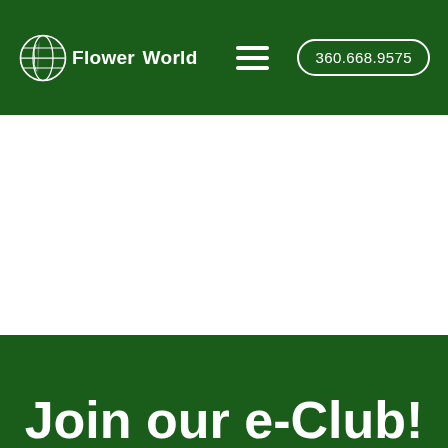Flower World | 360.668.9575
[Figure (screenshot): White background content area (hero image area, blank)]
Join our e-Club!